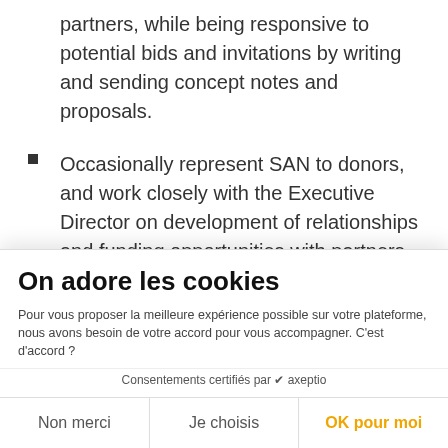partners, while being responsive to potential bids and invitations by writing and sending concept notes and proposals.
Occasionally represent SAN to donors, and work closely with the Executive Director on development of relationships and funding opportunities with partners globally. The candidate will likely accompany the
Executive Director on various meetings in Europe, Latin America, and maybe along with senior DO... experience levels and... bilities to de... structure programmatically...
On adore les cookies
Pour vous proposer la meilleure expérience possible sur votre plateforme, nous avons besoin de votre accord pour vous accompagner. C'est d'accord ?
Consentements certifiés par ✔ axeptio
Non merci | Je choisis | OK pour moi